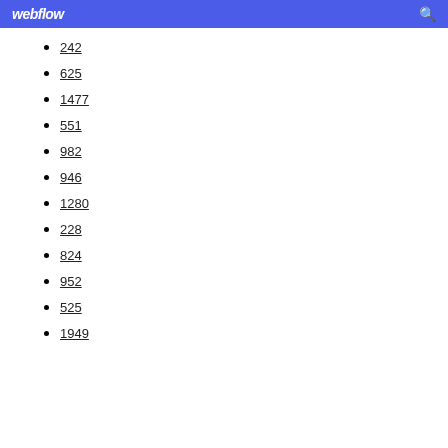webflow
242
625
1477
551
982
946
1280
228
824
952
525
1949